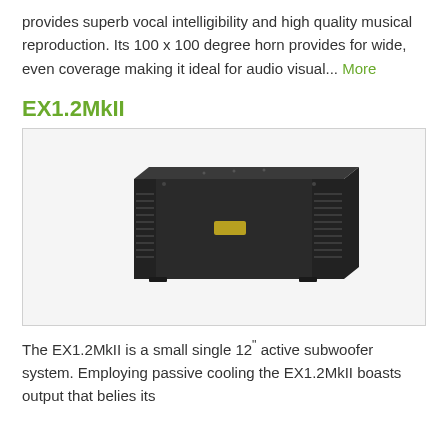provides superb vocal intelligibility and high quality musical reproduction. Its 100 x 100 degree horn provides for wide, even coverage making it ideal for audio visual... More
EX1.2MkII
[Figure (photo): Photo of EX1.2MkII active subwoofer system — a wide rectangular black cabinet speaker unit, shown in a light gray bordered box]
The EX1.2MkII is a small single 12" active subwoofer system. Employing passive cooling the EX1.2MkII boasts output that belies its